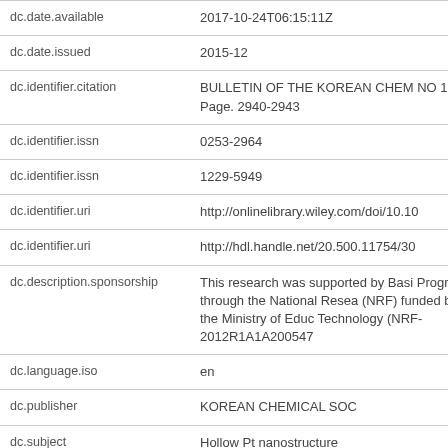| Field | Value |
| --- | --- |
| dc.date.available | 2017-10-24T06:15:11Z |
| dc.date.issued | 2015-12 |
| dc.identifier.citation | BULLETIN OF THE KOREAN CHEM NO 12, Page. 2940-2943 |
| dc.identifier.issn | 0253-2964 |
| dc.identifier.issn | 1229-5949 |
| dc.identifier.uri | http://onlinelibrary.wiley.com/doi/10.10 |
| dc.identifier.uri | http://hdl.handle.net/20.500.11754/30 |
| dc.description.sponsorship | This research was supported by Basi Program through the National Resea (NRF) funded by the Ministry of Educ Technology (NRF-2012R1A1A200547 |
| dc.language.iso | en |
| dc.publisher | KOREAN CHEMICAL SOC |
| dc.subject | Hollow Pt nanostructure |
| dc.subject | MWNT |
| dc.subject | Amperometric sensor |